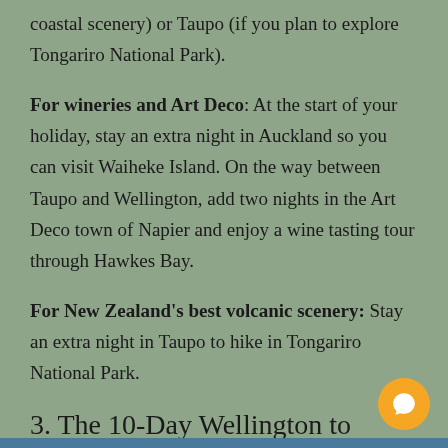coastal scenery) or Taupo (if you plan to explore Tongariro National Park).
For wineries and Art Deco: At the start of your holiday, stay an extra night in Auckland so you can visit Waiheke Island. On the way between Taupo and Wellington, add two nights in the Art Deco town of Napier and enjoy a wine tasting tour through Hawkes Bay.
For New Zealand's best volcanic scenery: Stay an extra night in Taupo to hike in Tongariro National Park.
3. The 10-Day Wellington to Wellington Itinerary